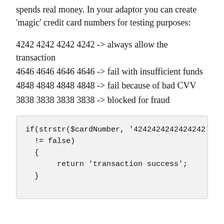spends real money. In your adaptor you can create 'magic' credit card numbers for testing purposes:
4242 4242 4242 4242 -> always allow the transaction
4646 4646 4646 4646 -> fail with insufficient funds
4848 4848 4848 4848 -> fail because of bad CVV
3838 3838 3838 3838 -> blocked for fraud